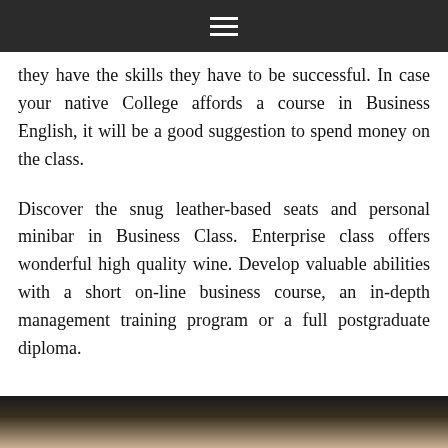≡
they have the skills they have to be successful. In case your native College affords a course in Business English, it will be a good suggestion to spend money on the class.
Discover the snug leather-based seats and personal minibar in Business Class. Enterprise class offers wonderful high quality wine. Develop valuable abilities with a short on-line business course, an in-depth management training program or a full postgraduate diploma.
[Figure (photo): Photo of people in what appears to be an airplane business class cabin setting, partially visible at the bottom of the page]